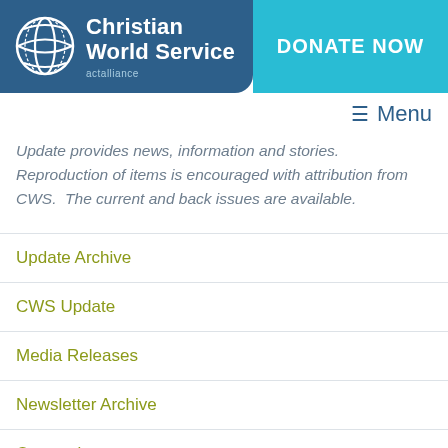[Figure (logo): Christian World Service logo with globe icon and actalliance tagline on blue background, with DONATE NOW button in cyan]
≡ Menu
Update provides news, information and stories. Reproduction of items is encouraged with attribution from CWS. The current and back issues are available.
Update Archive
CWS Update
Media Releases
Newsletter Archive
Our stories